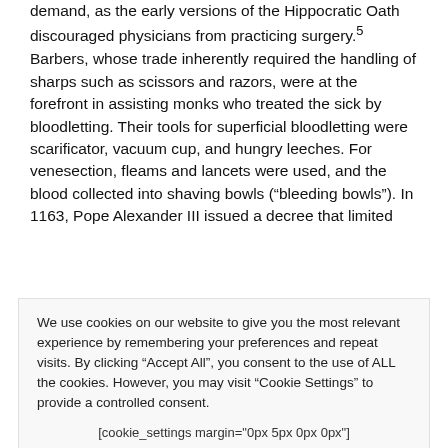demand, as the early versions of the Hippocratic Oath discouraged physicians from practicing surgery.5 Barbers, whose trade inherently required the handling of sharps such as scissors and razors, were at the forefront in assisting monks who treated the sick by bloodletting. Their tools for superficial bloodletting were scarificator, vacuum cup, and hungry leeches. For venesection, fleams and lancets were used, and the blood collected into shaving bowls (“bleeding bowls”). In 1163, Pope Alexander III issued a decree that limited
We use cookies on our website to give you the most relevant experience by remembering your preferences and repeat visits. By clicking “Accept All”, you consent to the use of ALL the cookies. However, you may visit “Cookie Settings” to provide a controlled consent.
[cookie_settings margin="0px 5px 0px 0px"] [cookie_accept_all]